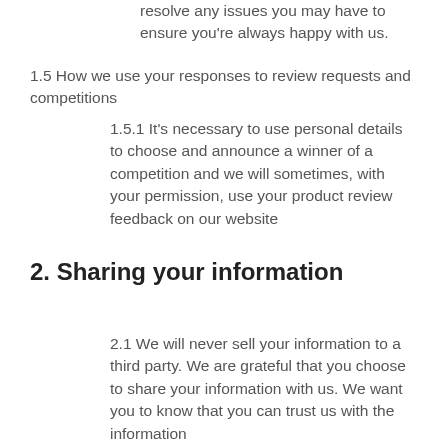resolve any issues you may have to ensure you're always happy with us.
1.5 How we use your responses to review requests and competitions
1.5.1 It's necessary to use personal details to choose and announce a winner of a competition and we will sometimes, with your permission, use your product review feedback on our website
2. Sharing your information
2.1 We will never sell your information to a third party. We are grateful that you choose to share your information with us. We want you to know that you can trust us with the information